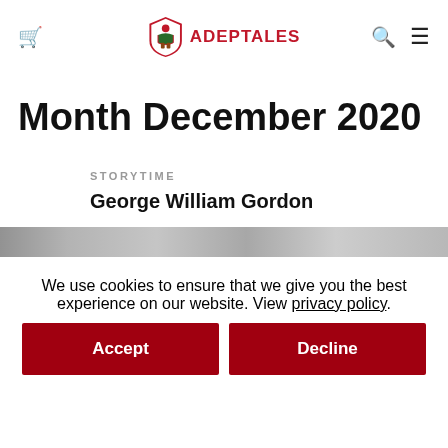ADEPTALES
Month December 2020
STORYTIME
George William Gordon
[Figure (photo): Partial image strip showing a scene related to George William Gordon story]
We use cookies to ensure that we give you the best experience on our website. View privacy policy.
Accept
Decline